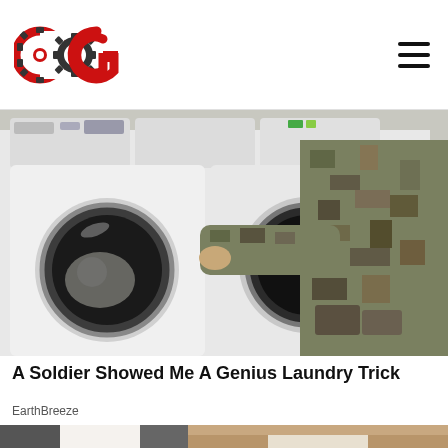COG logo and navigation
[Figure (photo): Person in military camouflage uniform loading clothes into a front-load washing machine in a laundromat with multiple white washers visible]
A Soldier Showed Me A Genius Laundry Trick
EarthBreeze
[Figure (photo): Split image: left side shows white fabric/pants close-up, right side shows a person's foot wearing a white lace slip-on shoe with ankle bracelet on a stone surface]